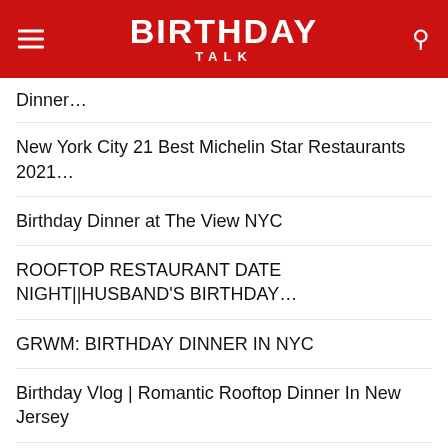BIRTHDAY TALK
Dinner…
New York City 21 Best Michelin Star Restaurants 2021…
Birthday Dinner at The View NYC
ROOFTOP RESTAURANT DATE NIGHT||HUSBAND'S BIRTHDAY…
GRWM: BIRTHDAY DINNER IN NYC
Birthday Vlog | Romantic Rooftop Dinner In New Jersey
BATEAUX DINNER CRUISE NEW YORK VLOG (BIRTHDAY…